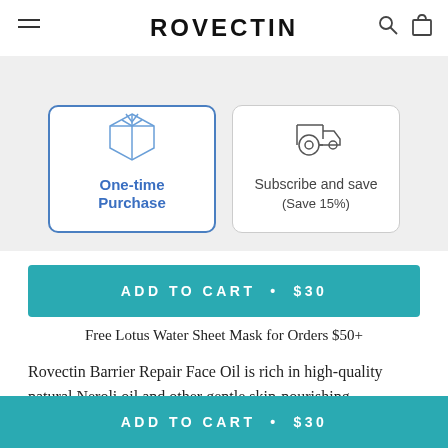ROVECTIN
[Figure (screenshot): E-commerce product page purchase options: 'One-time Purchase' (selected, blue border) and 'Subscribe and save (Save 15%)' cards with icons]
ADD TO CART  •  $30
Free Lotus Water Sheet Mask for Orders $50+
Rovectin Barrier Repair Face Oil is rich in high-quality natural Neroli oil and other gentle skin-nourishing ingredients. Everyday activities like cleansing or removing makeup can leave skin stripped of its natural moisture barrier. The high-quality natural ingredients in our face oil penetrate deep into the skin for
ADD TO CART  •  $30